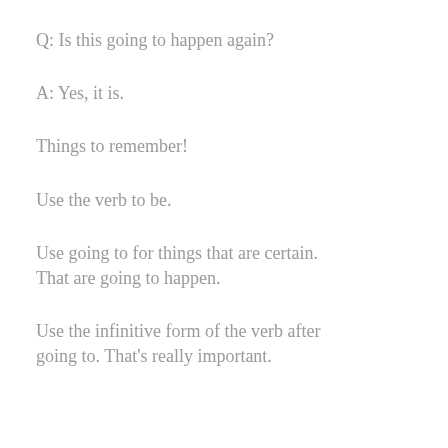Q: Is this going to happen again?
A: Yes, it is.
Things to remember!
Use the verb to be.
Use going to for things that are certain. That are going to happen.
Use the infinitive form of the verb after going to. That's really important.